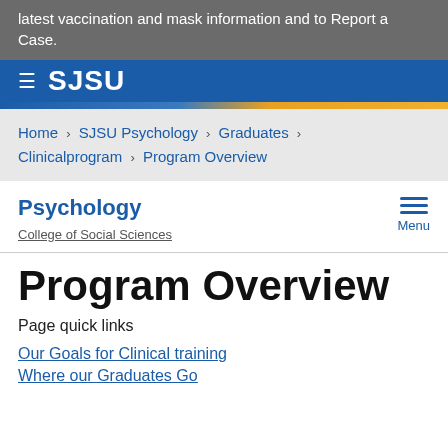latest vaccination and mask information and to Report a Case.
SJSU
Home > SJSU Psychology > Graduates > Clinicalprogram > Program Overview
Psychology
College of Social Sciences
Program Overview
Page quick links
Our Goals for Clinical training
Where our Graduates Go